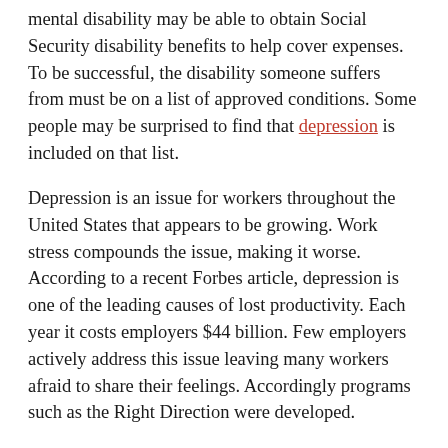mental disability may be able to obtain Social Security disability benefits to help cover expenses. To be successful, the disability someone suffers from must be on a list of approved conditions. Some people may be surprised to find that depression is included on that list.
Depression is an issue for workers throughout the United States that appears to be growing. Work stress compounds the issue, making it worse. According to a recent Forbes article, depression is one of the leading causes of lost productivity. Each year it costs employers $44 billion. Few employers actively address this issue leaving many workers afraid to share their feelings. Accordingly programs such as the Right Direction were developed.
Individuals whose depression prompts them to seek disability benefits should be aware that the benefits are not always easy to obtain. The claims must be supported by appropriate paperwork that confirms a person's condition. Because it is sometimes difficult to get all of that evidence organized, it is not uncommon for initial claims to be denied. For that reason many find it beneficial to work with a lawyer who handles SSD